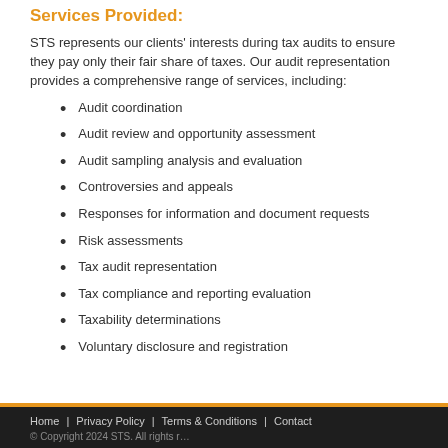Services Provided:
STS represents our clients' interests during tax audits to ensure they pay only their fair share of taxes. Our audit representation provides a comprehensive range of services, including:
Audit coordination
Audit review and opportunity assessment
Audit sampling analysis and evaluation
Controversies and appeals
Responses for information and document requests
Risk assessments
Tax audit representation
Tax compliance and reporting evaluation
Taxability determinations
Voluntary disclosure and registration
Home  Privacy Policy  Terms & Conditions  Contact